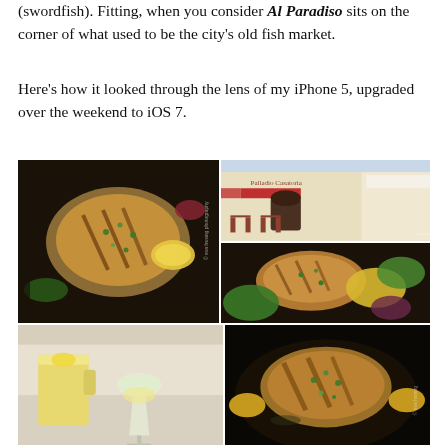(swordfish). Fitting, when you consider Al Paradiso sits on the corner of what used to be the city's old fish market.
Here's how it looked through the lens of my iPhone 5, upgraded over the weekend to iOS 7.
[Figure (photo): A collage of food and restaurant photos showing grilled swordfish steak on a black plate with lemon and salad, an outdoor restaurant terrace with red awnings, a close-up of grilled fish with vegetables, drinks including a beer mug and white wine glass, and another grilled fish dish.]